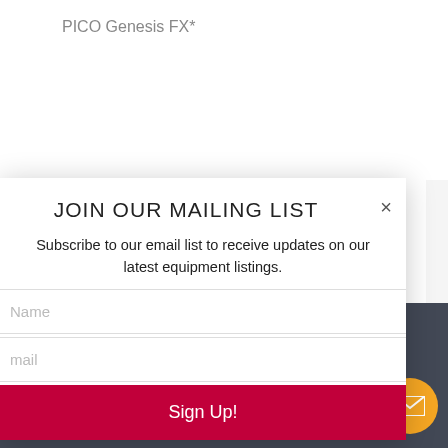PICO Genesis FX*
JOIN OUR MAILING LIST
Subscribe to our email list to receive updates on our latest equipment listings.
Name
mail
Sign Up!
MANUFACTURER
PROCEDURE